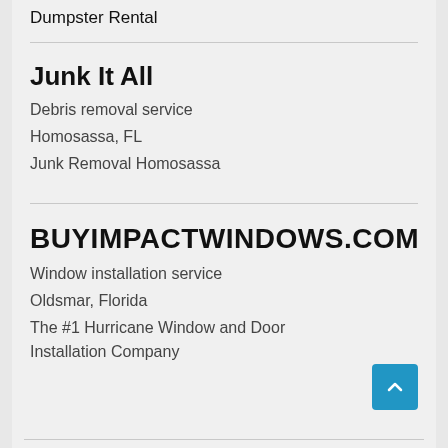Dumpster Rental
Junk It All
Debris removal service
Homosassa, FL
Junk Removal Homosassa
BUYIMPACTWINDOWS.COM
Window installation service
Oldsmar, Florida
The #1 Hurricane Window and Door Installation Company